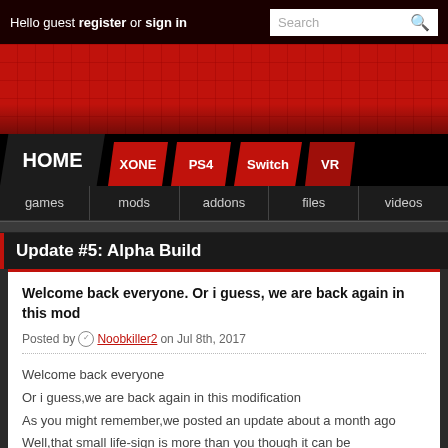Hello guest register or sign in | Search
[Figure (screenshot): Red banner with dark grid pattern decorative header]
HOME | XONE | PS4 | Switch | VR
games | mods | addons | files | videos
Update #5: Alpha Build
Welcome back everyone. Or i guess, we are back again in this mod
Posted by Noobkiller2 on Jul 8th, 2017
Welcome back everyone
Or i guess,we are back again in this modification
As you might remember,we posted an update about a month ago
Well,that small life-sign is more than you though it can be
1) Leviathan "Redux"
[Figure (screenshot): Dark black preview image at bottom of page]